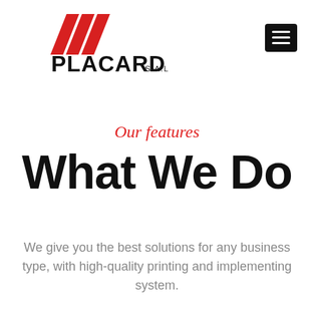[Figure (logo): Placard S.A.L. logo with red diagonal stripes and bold black text]
[Figure (other): Hamburger menu icon — black square with three white horizontal lines]
Our features
What We Do
We give you the best solutions for any business type, with high-quality printing and implementing system.